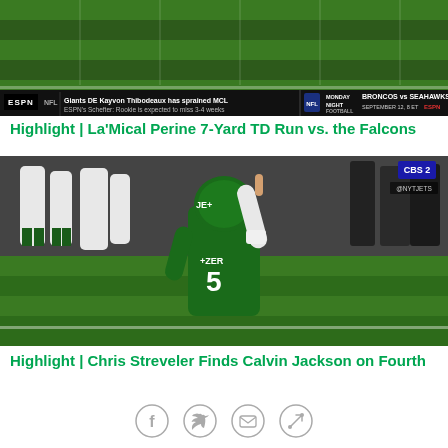[Figure (screenshot): ESPN broadcast screenshot showing football field with ESPN ticker at bottom displaying 'Giants DE Kayvon Thibodeaux has sprained MCL' and Monday Night Football Broncos vs Seahawks promo]
Highlight | La'Mical Perine 7-Yard TD Run vs. the Falcons
[Figure (screenshot): CBS Sports broadcast screenshot showing NFL player #5 in green New York Jets uniform raising finger on sideline]
Highlight | Chris Streveler Finds Calvin Jackson on Fourth
[Figure (other): Social sharing icons: Facebook, Twitter, Email, Link]